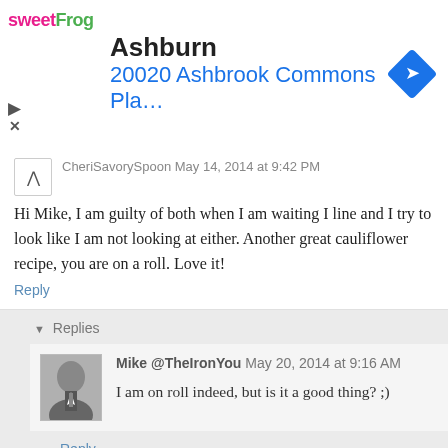[Figure (advertisement): sweetFrog advertisement banner showing Ashburn location at 20020 Ashbrook Commons Pla... with navigation arrow icon]
CheriSavorySpoon May 14, 2014 at 9:42 PM
Hi Mike, I am guilty of both when I am waiting I line and I try to look like I am not looking at either. Another great cauliflower recipe, you are on a roll. Love it!
Reply
▾ Replies
Mike @TheIronYou May 20, 2014 at 9:16 AM
I am on roll indeed, but is it a good thing? ;)
Reply